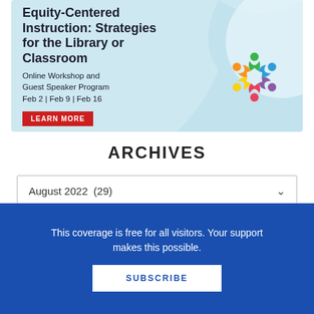[Figure (illustration): Banner advertisement for Equity-Centered Instruction workshop with colorful circle of people logo on light blue background with wave design]
ARCHIVES
August 2022  (29)
This coverage is free for all visitors. Your support makes this possible.
SUBSCRIBE